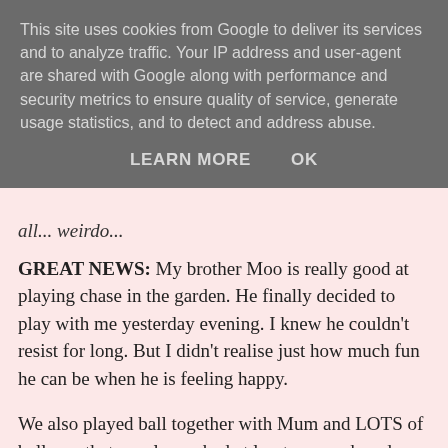This site uses cookies from Google to deliver its services and to analyze traffic. Your IP address and user-agent are shared with Google along with performance and security metrics to ensure quality of service, generate usage statistics, and to detect and address abuse.
LEARN MORE   OK
all... weirdo...
GREAT NEWS: My brother Moo is really good at playing chase in the garden. He finally decided to play with me yesterday evening. I knew he couldn't resist for long. But I didn't realise just how much fun he can be when he is feeling happy.
We also played ball together with Mum and LOTS of balls, so that we always had at least one each and more on the ground, so there would be no need for any arguments. I, of course, do not need to argue as I am a fearsome beast, and just take what I want. Moo might get grumpy if I do that though and Mum says we have to be "appropriate", and not be too fearsome or beasty.
When you are as big and tough as me, it is very difficult to